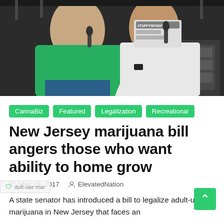[Figure (photo): Two men on a stage, one wearing a green t-shirt and one wearing a white t-shirt with '#TUFFYSFIGHT' text, both holding microphones]
CannaBiz
Featured
Legalization
Recreational
New Jersey marijuana bill angers those who want ability to home grow
May 19, 2017   ElevatedNation
A state senator has introduced a bill to legalize adult-use marijuana in New Jersey that faces an [uphill battle at the state legislature before Gov. Chris...]